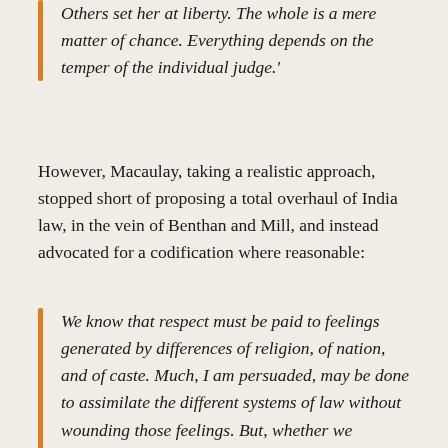Others set her at liberty. The whole is a mere matter of chance. Everything depends on the temper of the individual judge.'
However, Macaulay, taking a realistic approach, stopped short of proposing a total overhaul of India law, in the vein of Benthan and Mill, and instead advocated for a codification where reasonable:
We know that respect must be paid to feelings generated by differences of religion, of nation, and of caste. Much, I am persuaded, may be done to assimilate the different systems of law without wounding those feelings. But, whether we assimilate those systems or not, let us ascertain them; let us digest them. We propose no rash innovation; we wish to give